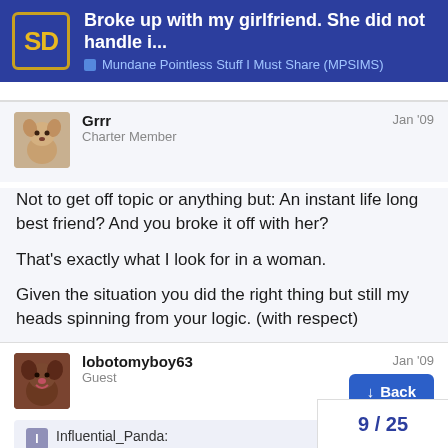Broke up with my girlfriend. She did not handle i... — Mundane Pointless Stuff I Must Share (MPSIMS)
Grrr
Charter Member
Jan '09
Not to get off topic or anything but: An instant life long best friend? And you broke it off with her?

That's exactly what I look for in a woman.

Given the situation you did the right thing but still my heads spinning from your logic. (with respect)
lobotomyboy63
Guest
Jan '09
Influential_Panda: